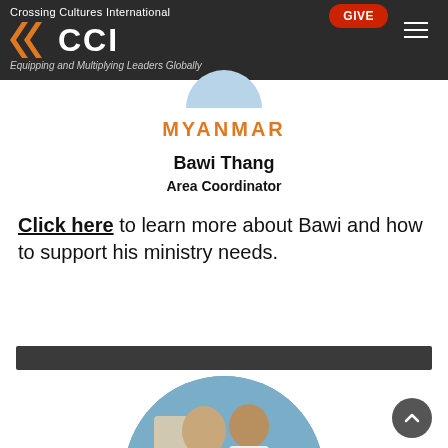Crossing Cultures International — CCI — Equipping and Multiplying Leaders Globally
MYANMAR
Bawi Thang
Area Coordinator
Click here to learn more about Bawi and how to support his ministry needs.
[Figure (photo): Dark horizontal divider bar]
[Figure (photo): Circular cropped photo showing two people in conversation, one wearing a dark shirt]